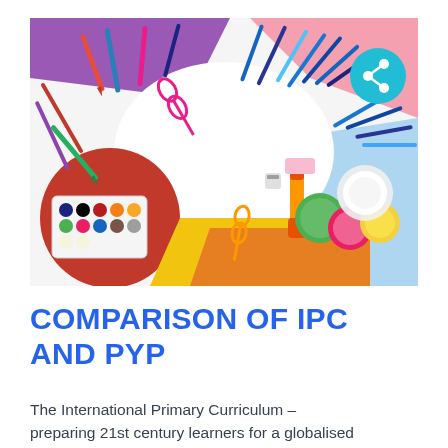[Figure (photo): Overhead flat-lay photo of colorful school/art supplies including colored pencils, pens, scissors, watercolor paints, markers, erasers, and play-dough arranged in a circle on colorful paper backgrounds. A teal share button overlays the top-right corner.]
COMPARISON OF IPC AND PYP
The International Primary Curriculum – preparing 21st century learners for a globalised